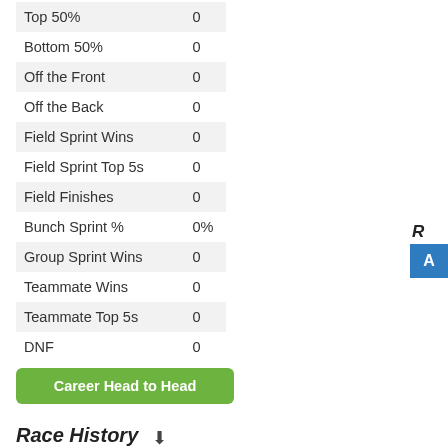| Stat | Value |
| --- | --- |
| Top 50% | 0 |
| Bottom 50% | 0 |
| Off the Front | 0 |
| Off the Back | 0 |
| Field Sprint Wins | 0 |
| Field Sprint Top 5s | 0 |
| Field Finishes | 0 |
| Bunch Sprint % | 0% |
| Group Sprint Wins | 0 |
| Teammate Wins | 0 |
| Teammate Top 5s | 0 |
| DNF | 0 |
Career Head to Head
Race History
2010 - 3 races